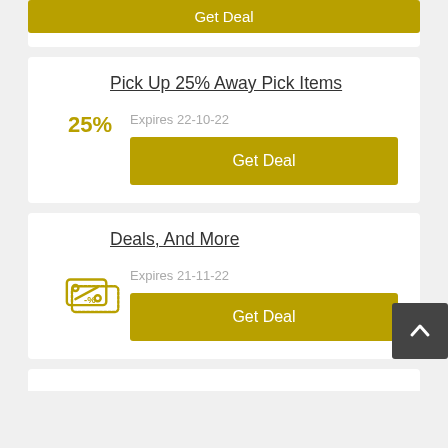[Figure (other): Top card partial with golden Get Deal button visible at top]
Pick Up 25% Away Pick Items
25%
Expires 22-10-22
Get Deal
Deals, And More
[Figure (illustration): Coupon icon with -% symbol in golden color]
Expires 21-11-22
Get Deal